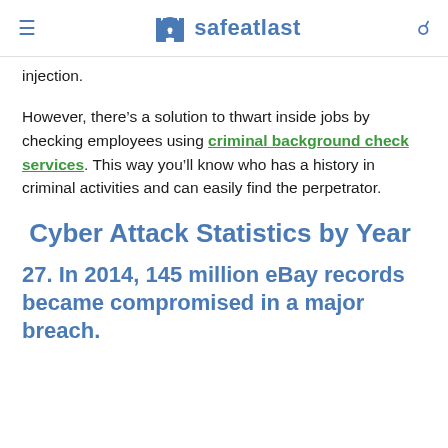safeatlast
injection.
However, there’s a solution to thwart inside jobs by checking employees using criminal background check services. This way you’ll know who has a history in criminal activities and can easily find the perpetrator.
Cyber Attack Statistics by Year
27. In 2014, 145 million eBay records became compromised in a major breach.